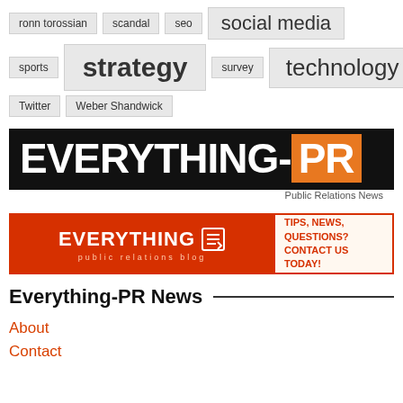ronn torossian
scandal
seo
social media
sports
strategy
survey
technology
Twitter
Weber Shandwick
[Figure (logo): EVERYTHING-PR Public Relations News logo on black background with orange PR box]
[Figure (infographic): Everything public relations blog banner with TIPS, NEWS, QUESTIONS? CONTACT US TODAY! on orange/red background]
Everything-PR News
About
Contact